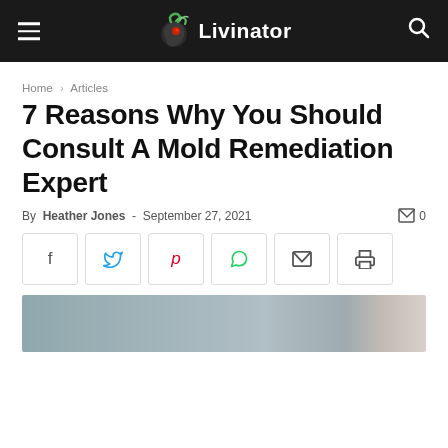Livinator
Home › Articles
7 Reasons Why You Should Consult A Mold Remediation Expert
By Heather Jones - September 27, 2021  0
[Figure (other): Social share buttons: Facebook, Twitter, Pinterest, WhatsApp, Email, Print]
[Figure (photo): Hero image partially visible, showing mold remediation context]